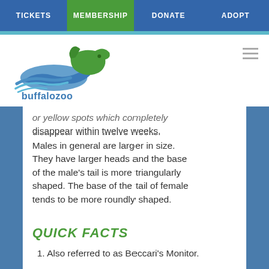TICKETS | MEMBERSHIP | DONATE | ADOPT
[Figure (logo): Buffalo Zoo logo with blue wave and green animal silhouette, text 'buffalozoo']
or yellow spots which completely disappear within twelve weeks. Males in general are larger in size. They have larger heads and the base of the male's tail is more triangularly shaped. The base of the tail of female tends to be more roundly shaped.
QUICK FACTS
1. Also referred to as Beccari's Monitor.